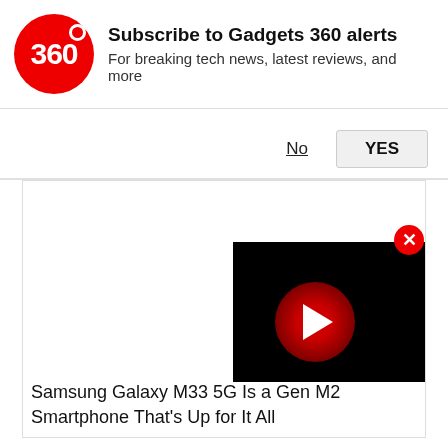[Figure (logo): Gadgets 360 red circular logo with '360' text in white]
Subscribe to Gadgets 360 alerts
For breaking tech news, latest reviews, and more
No
YES
[Figure (screenshot): White content area with a video player overlay showing a dark thumbnail with a red play button circle, and a red close (X) button]
Samsung Galaxy M33 5G Is a Gen M2 Smartphone That's Up for It All